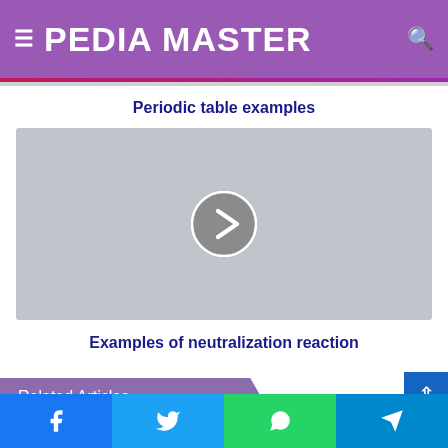PEDIA MASTER
Periodic table examples
[Figure (other): Video thumbnail placeholder with play button (right-pointing chevron) on gray background]
Examples of neutralization reaction
Related Articles
Facebook, Twitter, WhatsApp, Telegram share buttons